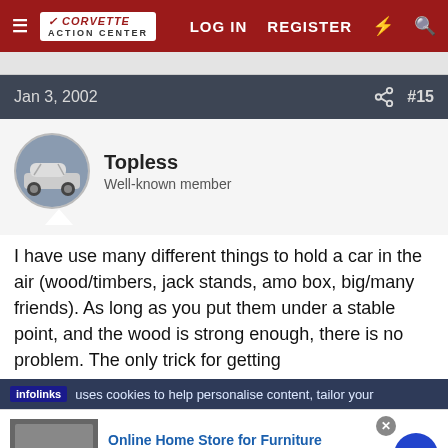Corvette Action Center — LOG IN  REGISTER
Jan 3, 2002  #15
Topless
Well-known member
I have use many different things to hold a car in the air (wood/timbers, jack stands, amo box, big/many friends). As long as you put them under a stable point, and the wood is strong enough, there is no problem. The only trick for getting
infolinks uses cookies to help personalise content, tailor your
[Figure (screenshot): Ad banner for Wayfair Online Home Store for Furniture with product image and arrow button]